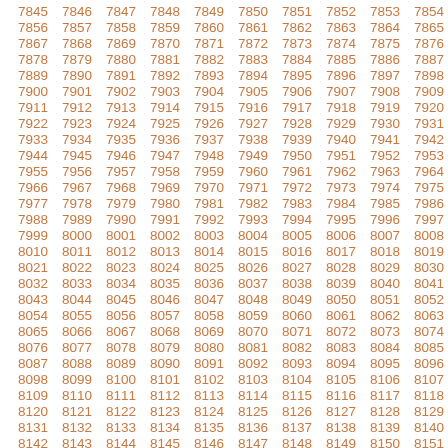Sequential numbers from 7845 to 8151, displayed in a grid of 10 columns per row